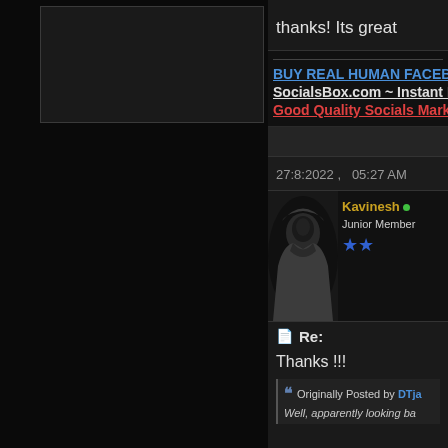[Figure (photo): Black/dark left column with avatar placeholder box at top]
thanks! Its great
BUY REAL HUMAN FACEBOOK
SocialsBox.com ~ Instant Instag
Good Quality Socials Marketing
27:8:2022 ,   05:27 AM
[Figure (photo): Hooded figure avatar photo, dark background]
Kavinesh
Junior Member
★★
Re:
Thanks !!!
Originally Posted by DTja
Well, apparently looking ba